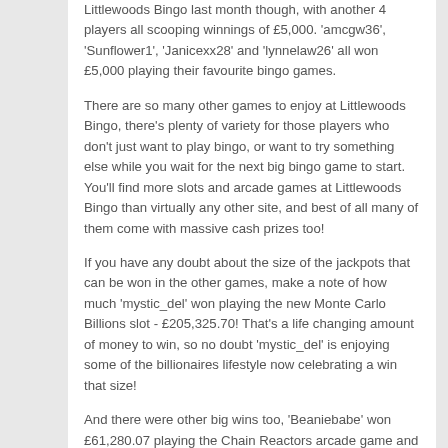Littlewoods Bingo last month though, with another 4 players all scooping winnings of £5,000. 'amcgw36', 'Sunflower1', 'Janicexx28' and 'lynnelaw26' all won £5,000 playing their favourite bingo games.
There are so many other games to enjoy at Littlewoods Bingo, there's plenty of variety for those players who don't just want to play bingo, or want to try something else while you wait for the next big bingo game to start. You'll find more slots and arcade games at Littlewoods Bingo than virtually any other site, and best of all many of them come with massive cash prizes too!
If you have any doubt about the size of the jackpots that can be won in the other games, make a note of how much 'mystic_del' won playing the new Monte Carlo Billions slot - £205,325.70! That's a life changing amount of money to win, so no doubt 'mystic_del' is enjoying some of the billionaires lifestyle now celebrating a win that size!
And there were other big wins too, 'Beaniebabe' won £61,280.07 playing the Chain Reactors arcade game and 'Trigger1' spun their way to a cash jackpot of £26,476.21 on the Bingo Slots...